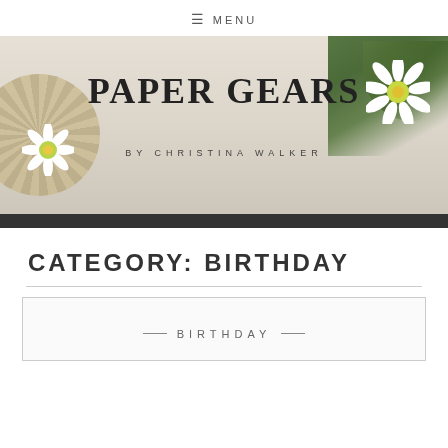≡ MENU
[Figure (photo): Hero banner image for Paper Gears blog by Christina Walker. Features white wooden background with flowers (daisies) and green foliage, a woven circular mat on the left, and the blog title 'PAPER GEARS' with subtitle 'BY CHRISTINA WALKER' overlaid in the center.]
PAPER GEARS
BY CHRISTINA WALKER
CATEGORY: BIRTHDAY
— BIRTHDAY —